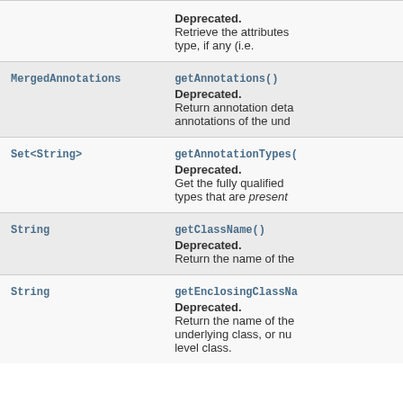| Type | Method and Description |
| --- | --- |
|  | Deprecated.
Retrieve the attributes type, if any (i.e. |
| MergedAnnotations | getAnnotations()
Deprecated.
Return annotation deta annotations of the und |
| Set<String> | getAnnotationTypes(
Deprecated.
Get the fully qualified types that are present |
| String | getClassName()
Deprecated.
Return the name of the |
| String | getEnclosingClassName
Deprecated.
Return the name of the underlying class, or nu level class. |